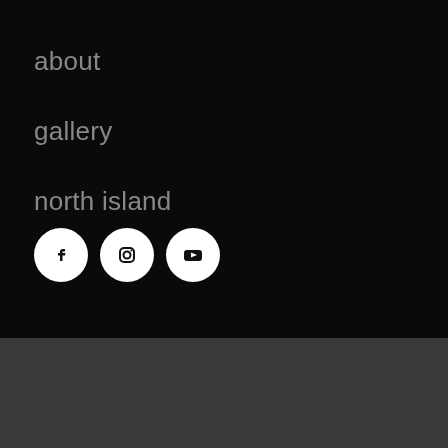about
gallery
north island
[Figure (infographic): Three social media icon buttons (Facebook, Instagram, YouTube) as white circles with black icons on dark background]
Copyright © 2022 - dashboard
POWERED BY ROCKETSPARK